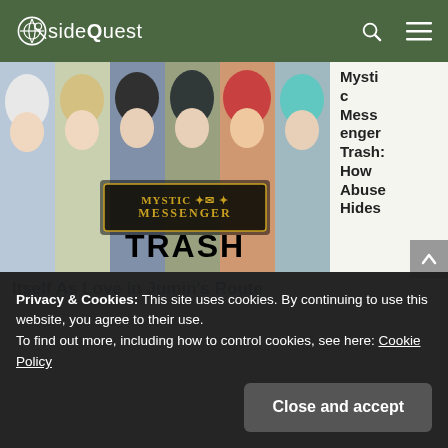sideQuest
[Figure (screenshot): Mystic Messenger game promotional image showing multiple anime-style male characters side by side, with 'MYSTIC MESSENGER TRASH' text overlay]
Mystic Messenger Trash: How Abuse Hides Itself As Love in Jumin's Route
Privacy & Cookies: This site uses cookies. By continuing to use this website, you agree to their use.
To find out more, including how to control cookies, see here: Cookie Policy
Close and accept